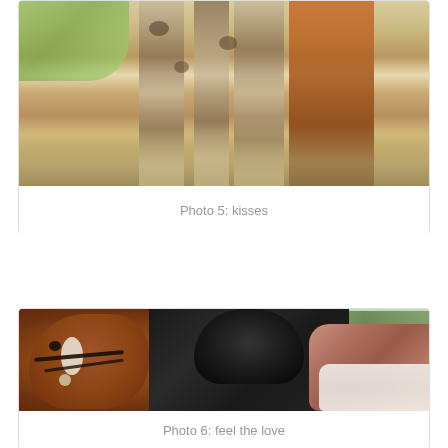[Figure (photo): Partial view of a horse with spotted coat and rider wearing tall orange/brown boots, walking on a gravel path. Only the lower body of the horse and legs of the rider are visible.]
Photo 5: kisses
[Figure (photo): A chestnut horse with a white blaze on its face wearing a bridle, standing close to a young equestrian rider dressed in a black show jacket and black helmet, with a saddle visible on the horse's back. Trees and a sandy arena are visible in the background.]
Photo 6: feel the love